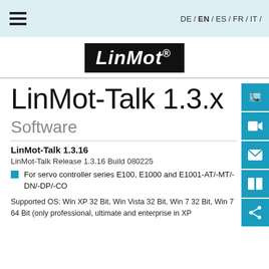DE / EN / ES / FR / IT /
[Figure (logo): LinMot logo in black box with italic bold white text and registered trademark symbol]
LinMot-Talk 1.3.x
Software
LinMot-Talk 1.3.16
LinMot-Talk Release 1.3.16 Build 080225
For servo controller series E100, E1000 and E1001-AT/-MT/-DN/-DP/-CO
Supported OS: Win XP 32 Bit, Win Vista 32 Bit, Win 7 32 Bit, Win 7 64 Bit (only professional, ultimate and enterprise in XP